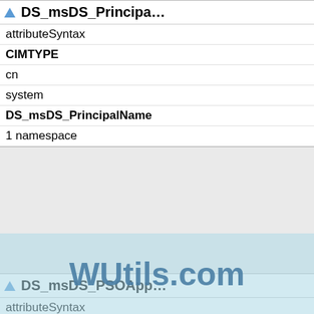| DS_msDS_PrincipalName (truncated) |
| --- |
| attributeSyntax |
| CIMTYPE |
| cn |
| system |
| DS_msDS_PrincipalName |
| 1 namespace |
| DS_msDS_PSOApp (truncated) |
| --- |
| attributeSyntax |
| CIMTYPE |
| cn |
| system |
| DS_msDS_PSOApplied pro namespace |
| DS_msDS_ReplAtt (truncated) |
| --- |
| attributeSyntax |
| CIMTYPE |
| cn |
[Figure (other): WUtils.com watermark overlay on bottom portion of page]